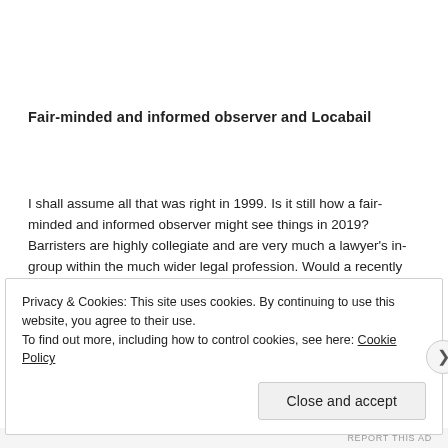Fair-minded and informed observer and Locabail
I shall assume all that was right in 1999. Is it still how a fair-minded and informed observer might see things in 2019? Barristers are highly collegiate and are very much a lawyer's in-group within the much wider legal profession. Would a recently appointed judge – for all his or her 'independence' while in chambers (what barristers call
Privacy & Cookies: This site uses cookies. By continuing to use this website, you agree to their use.
To find out more, including how to control cookies, see here: Cookie Policy
Close and accept
REPORT THIS AD